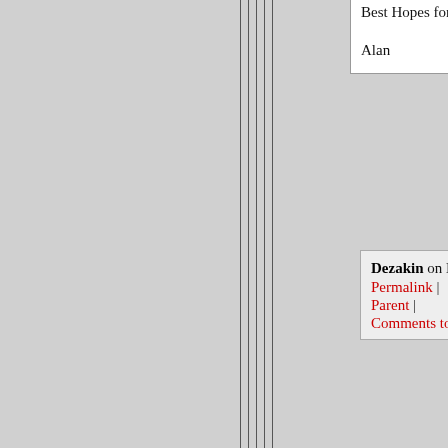Best Hopes for renewable power,

Alan
Dezakin on May 30, 2007 - 7:38pm Permalink | Parent | Comments top
The economics of wind turbines are improving at a steady rate (a bit like